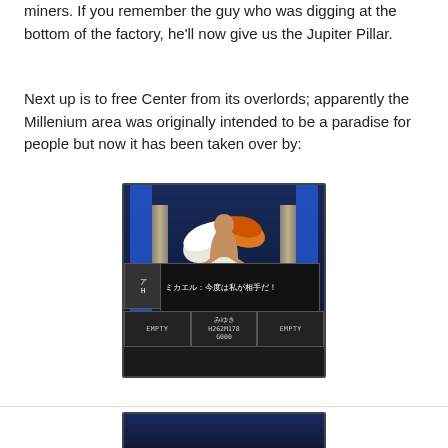miners. If you remember the guy who was digging at the bottom of the factory, he'll now give us the Jupiter Pillar.
Next up is to free Center from its overlords; apparently the Millenium area was originally intended to be a paradise for people but now it has been taken over by:
[Figure (screenshot): A Japanese SNES/PC-88 style RPG battle screen showing an angel character with orange and white wings. A dialog box reads: ミカエル：今度は私が相手だ！ The status bar at the bottom shows EMPTY | みゆき H262M178 G000 | EMPTY]
[Figure (screenshot): Partial screenshot of another game scene at the bottom of the page, showing a blue-toned game screen (cropped).]